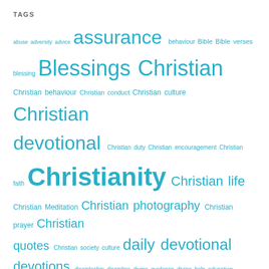TAGS
[Figure (infographic): Tag cloud of Christian/religious topics in varying font sizes rendered in teal/cyan color. Larger tags include: Christianity, Holy Bible, photography, Jesus, Blessings, Christian devotional, Christian, assurance, prayer, quotes, prayers, love, God, grace, daily devotional, devotions, people. Smaller tags include: abuse, adversity, advice, behaviour, Bible, Bible verses, blessing, Christian behaviour, Christian conduct, Christian culture, Christian duty, Christian encouragement, Christian faith, Christian life, Christian Meditation, Christian photography, Christian prayer, Christian quotes, Christian society culture, discipleship, discipline, divine guidance, divine help, education, encouragement, experience, faith, family, God's grace, guidance, help, Holy Spirit, Jehovah, Jesus Christ, joy, knowledge, life, lifestyle, meditation, mental health, obedience, peace, praise, prayer of thanksgiving, Proverbs, Psalm, psychology, relationship.]